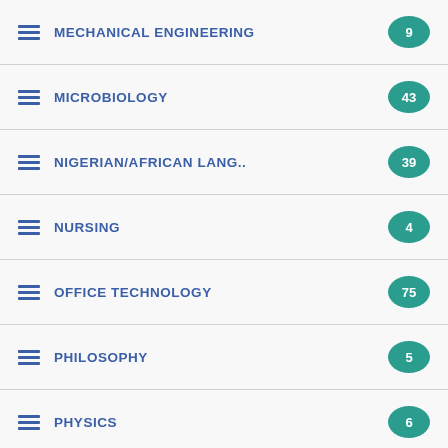MECHANICAL ENGINEERING
MICROBIOLOGY
NIGERIAN/AFRICAN LANG..
NURSING
OFFICE TECHNOLOGY
PHILOSOPHY
PHYSICS
POLITICAL SCIENCE